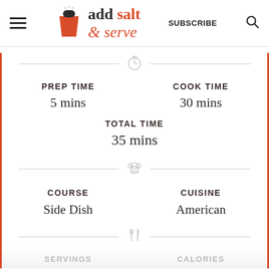add salt & serve — SUBSCRIBE
PREP TIME
5 mins
COOK TIME
30 mins
TOTAL TIME
35 mins
COURSE
Side Dish
CUISINE
American
SERVINGS
CALORIES